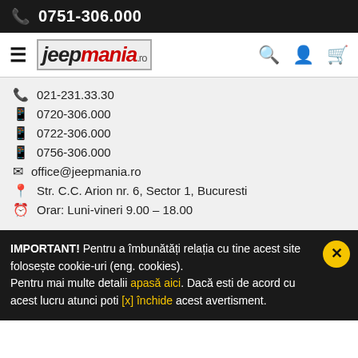0751-306.000
[Figure (logo): Jeepmania.ro logo with navigation icons (hamburger menu, search, account, cart)]
021-231.33.30
0720-306.000
0722-306.000
0756-306.000
office@jeepmania.ro
Str. C.C. Arion nr. 6, Sector 1, Bucuresti
Orar: Luni-vineri 9.00 – 18.00
IMPORTANT! Pentru a îmbunătăți relația cu tine acest site folosește cookie-uri (eng. cookies). Pentru mai multe detalii apasă aici. Dacă esti de acord cu acest lucru atunci poti [x] închide acest avertisment.